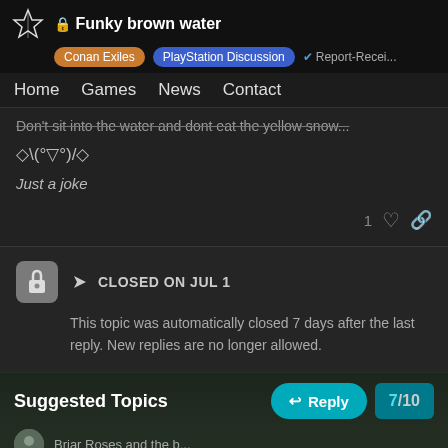🔒 Funky brown water | Conan Exiles | PlayStation Discussion | ✔ Report-Recei...
Home  Games  News  Contact
Don't sit into the water and don't eat the yellow snow...
◇ \(°▽°)/ ◇
Just a joke
1 ♡ 🔗
CLOSED ON JUL 1
This topic was automatically closed 7 days after the last reply. New replies are no longer allowed.
Suggested Topics
7 / 10